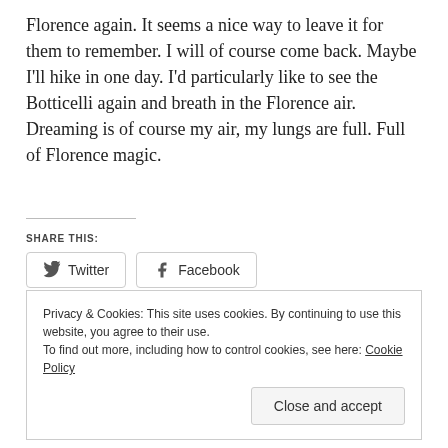Florence again. It seems a nice way to leave it for them to remember. I will of course come back. Maybe I'll hike in one day. I'd particularly like to see the Botticelli again and breath in the Florence air. Dreaming is of course my air, my lungs are full. Full of Florence magic.
SHARE THIS:
Twitter  Facebook
Loading...
Privacy & Cookies: This site uses cookies. By continuing to use this website, you agree to their use. To find out more, including how to control cookies, see here: Cookie Policy
Close and accept